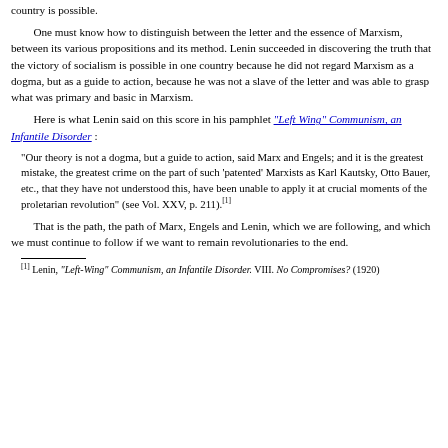country is possible.
One must know how to distinguish between the letter and the essence of Marxism, between its various propositions and its method. Lenin succeeded in discovering the truth that the victory of socialism is possible in one country because he did not regard Marxism as a dogma, but as a guide to action, because he was not a slave of the letter and was able to grasp what was primary and basic in Marxism.
Here is what Lenin said on this score in his pamphlet "Left Wing" Communism, an Infantile Disorder :
"Our theory is not a dogma, but a guide to action, said Marx and Engels; and it is the greatest mistake, the greatest crime on the part of such 'patented' Marxists as Karl Kautsky, Otto Bauer, etc., that they have not understood this, have been unable to apply it at crucial moments of the proletarian revolution" (see Vol. XXV, p. 211).[1]
That is the path, the path of Marx, Engels and Lenin, which we are following, and which we must continue to follow if we want to remain revolutionaries to the end.
[1] Lenin, "Left-Wing" Communism, an Infantile Disorder. VIII. No Compromises? (1920)